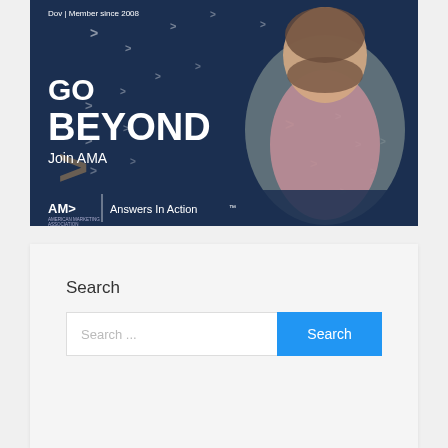[Figure (photo): AMA (American Marketing Association) advertisement banner featuring a smiling bearded man in a grey blazer and pink shirt, with 'GO BEYOND Join AMA' text on a dark navy background with chevron decorations and the AMA logo with tagline 'Answers In Action'. Text at top reads 'Dov | Member since 2008'.]
Search
Search ...